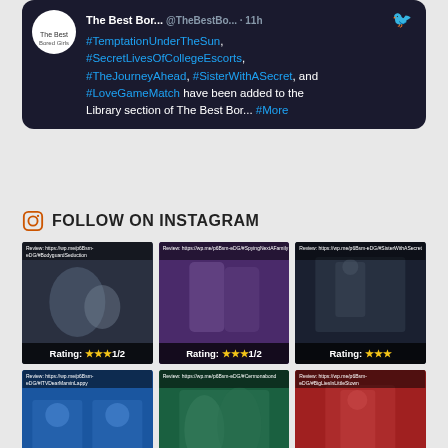[Figure (screenshot): Twitter/social media card with dark background showing tweet about movies added to library. Hashtags: #TemptationUnderTheSun, #SecretLivesOfCollegeEscorts, #TheJourneyAhead, #SisterWithASecret, #LoveGameMatch. From account @TheBestDa... 11h]
FOLLOW ON INSTAGRAM
[Figure (screenshot): Instagram grid post 1 - dark background with blurred image, review link, Rating: ★★★1/2]
[Figure (screenshot): Instagram grid post 2 - purple background with two women, review link, Rating: ★★★1/2]
[Figure (screenshot): Instagram grid post 3 - dark background with woman outdoors, review link, Rating: ★★★]
[Figure (screenshot): Instagram grid post 4 - blue background with TV show hosts, review link]
[Figure (screenshot): Instagram grid post 5 - green/teal background with couple, review link]
[Figure (screenshot): Instagram grid post 6 - red background with woman, review link]